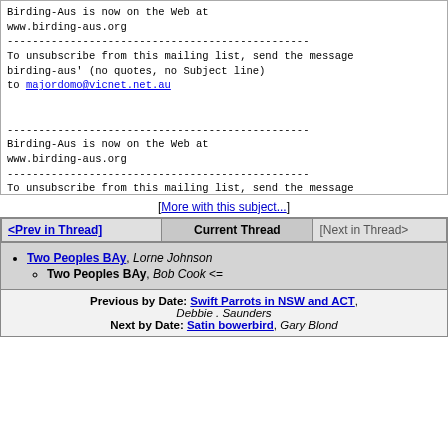Birding-Aus is now on the Web at www.birding-aus.org
------------------------------------------------
To unsubscribe from this mailing list, send the message birding-aus' (no quotes, no Subject line)
to majordomo@vicnet.net.au

------------------------------------------------
Birding-Aus is now on the Web at
www.birding-aus.org
------------------------------------------------
To unsubscribe from this mailing list, send the message birding-aus' (no quotes, no Subject line)
to majordomo@vicnet.net.au
[More with this subject...]
| <Prev in Thread] | Current Thread | [Next in Thread> |
| --- | --- | --- |
Two Peoples BAy, Lorne Johnson
Two Peoples BAy, Bob Cook <=
Previous by Date: Swift Parrots in NSW and ACT, Debbie . Saunders
Next by Date: Satin bowerbird, Gary Blond